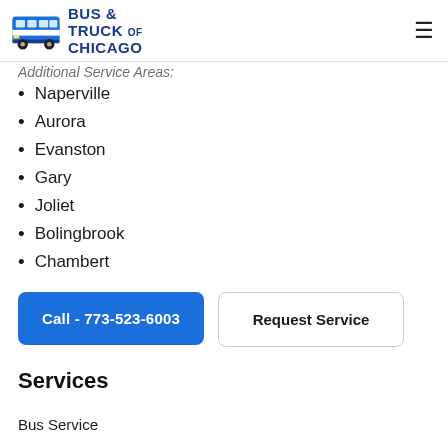Bus & Truck of Chicago
Additional Service Areas:
Naperville
Aurora
Evanston
Gary
Joliet
Bolingbrook
Chambert
Call - 773-523-6003
Request Service
Services
Bus Service